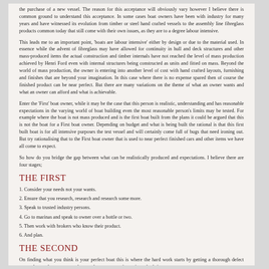the purchase of a new vessel. The reason for this acceptance will obviously vary however I believe there is common ground to understand this acceptance. In some cases boat owners have been with industry for many years and have witnessed its evolution from timber or steel hand crafted vessels to the assembly line fibreglass products common today that still come with their own issues, as they are to a degree labour intensive.
This leads me to an important point, 'boats are labour intensive' either by design or due to the material used. In essence while the advent of fibreglass may have allowed for continuity in hull and deck structures and other mass-produced items the actual construction and timber internals have not reached the level of mass production achieved by Henri Ford even with internal structures being constructed as units and fitted on mass. Beyond the world of mass production, the owner is entering into another level of cost with hand crafted layouts, furnishing and finishes that are beyond your imagination. In this case where there is no expense spared then of course the finished product can be near perfect. But there are many variations on the theme of what an owner wants and what an owner can afford and what is achievable.
Enter the 'First' boat owner, while it may be the case that this person is realistic, understanding and has reasonable expectations in the varying world of boat building even the most reasonable person's limits may be tested. For example where the boat is not mass produced and is the first boat built from the plans it could be argued that this is not the boat for a First boat owner. Depending on budget and what is being built the rational is that this first built boat is for all intensive purposes the test vessel and will certainly come full of bugs that need ironing out. But try rationalising that to the First boat owner that is used to near perfect finished cars and other items we have all come to expect.
So how do you bridge the gap between what can be realistically produced and expectations. I believe there are four stages;
THE FIRST
1. Consider your needs not your wants.
2. Ensure that you research, research and research some more.
3. Speak to trusted industry persons.
4. Go to marinas and speak to owner over a bottle or two.
5. Then work with brokers who know their product.
6. And plan.
THE SECOND
On finding what you think is your perfect boat this is where the hard work starts by getting a thorough defect report that explores your purchase and your expectations of cost both for